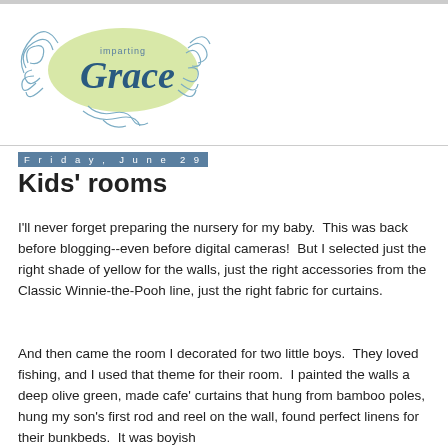[Figure (logo): Imparting Grace blog logo with cursive Grace text on a light green oval shape with decorative swirls]
Friday, June 29
Kids' rooms
I'll never forget preparing the nursery for my baby.  This was back before blogging--even before digital cameras!  But I selected just the right shade of yellow for the walls, just the right accessories from the Classic Winnie-the-Pooh line, just the right fabric for curtains.
And then came the room I decorated for two little boys.  They loved fishing, and I used that theme for their room.  I painted the walls a deep olive green, made cafe' curtains that hung from bamboo poles, hung my son's first rod and reel on the wall, found perfect linens for their bunkbeds.  It was boyish